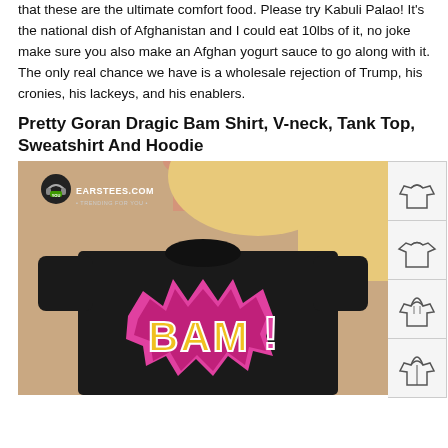that these are the ultimate comfort food. Please try Kabuli Palao! It's the national dish of Afghanistan and I could eat 10lbs of it, no joke make sure you also make an Afghan yogurt sauce to go along with it. The only real chance we have is a wholesale rejection of Trump, his cronies, his lackeys, and his enablers.
Pretty Goran Dragic Bam Shirt, V-neck, Tank Top, Sweatshirt And Hoodie
[Figure (photo): Woman wearing a black t-shirt with 'BAM!' comic-style graphic in pink, yellow and purple. The earstees.com logo is visible in the top left. On the right side are 4 thumbnail images showing different clothing styles (sweatshirt, t-shirt, hoodie, zip hoodie).]